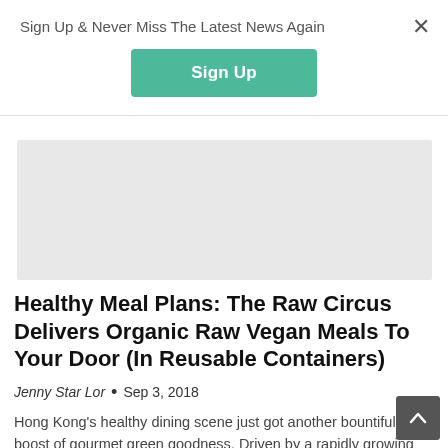Sign Up & Never Miss The Latest News Again
[Figure (other): Green Sign Up button]
[Figure (other): Gray rectangular image placeholder for article]
Healthy Meal Plans: The Raw Circus Delivers Organic Raw Vegan Meals To Your Door (In Reusable Containers)
Jenny Star Lor • Sep 3, 2018
Hong Kong's healthy dining scene just got another bountiful boost of gourmet green goodness. Driven by a rapidly growing group of health conscious eaters looking for conveniently